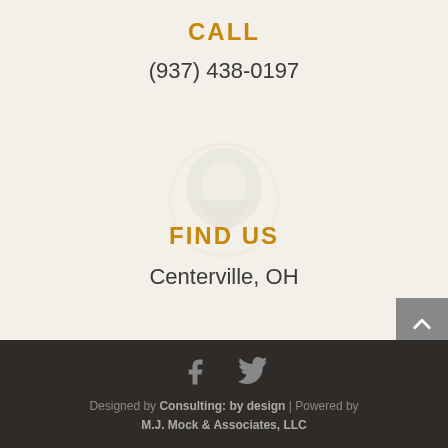CALL
(937) 438-0197
[Figure (illustration): Faint watermark/ghost illustration of a map pin or location icon in the background]
FIND US
Centerville, OH
Designed by Consulting: by design | Powered by M.J. Mock & Associates, LLC